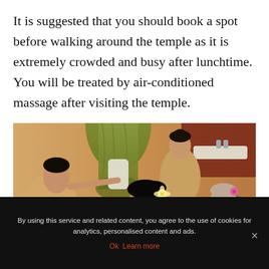It is suggested that you should book a spot before walking around the temple as it is extremely crowded and busy after lunchtime. You will be treated by air-conditioned massage after visiting the temple.
[Figure (photo): Photo of Thai massage session: two therapists in green uniforms performing massage on two clients lying face down, with green curtains and warm orange walls in the background]
By using this service and related content, you agree to the use of cookies for analytics, personalised content and ads.
Ok  Learn more